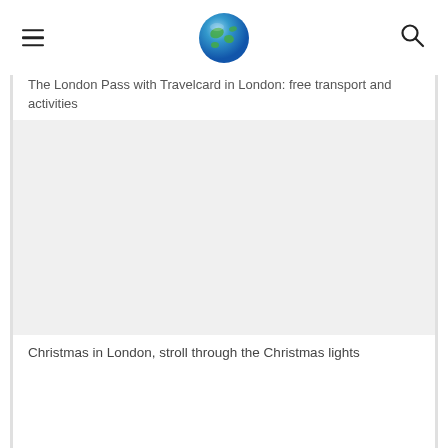[hamburger menu] [globe logo] [search icon]
The London Pass with Travelcard in London: free transport and activities
[Figure (photo): Image placeholder for Christmas in London article]
Christmas in London, stroll through the Christmas lights